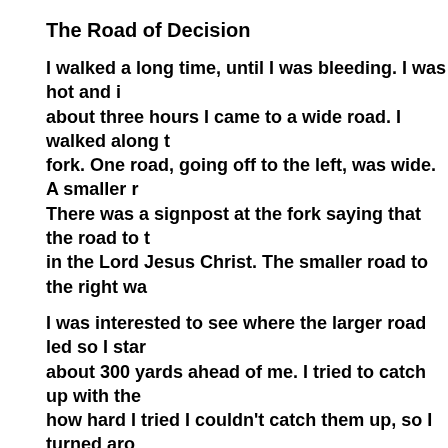The Road of Decision
I walked a long time, until I was bleeding. I was hot and i about three hours I came to a wide road. I walked along t fork. One road, going off to the left, was wide. A smaller r There was a signpost at the fork saying that the road to t in the Lord Jesus Christ. The smaller road to the right wa
I was interested to see where the larger road led so I star about 300 yards ahead of me. I tried to catch up with the how hard I tried I couldn't catch them up, so I turned aro I continued to watch these two men as they walked down reached the end of the road they were suddenly stabbed also cried out when I saw what happened to them! I reali danger for those who traveled down it.
Looking into Heaven
I started walking down the believers' road instead. After t of the road turned to pure gold. It was so pure that when reflection perfectly. I then saw a man standing in front of heard beautiful singing. Oh, it was so beautiful and purel than the worship we have in churches here on the earth. walk with him. I asked him, "What is your name?" but he six times the man answered, "I am the one who holds the beautiful alone. You can esteem the man, but if you follo